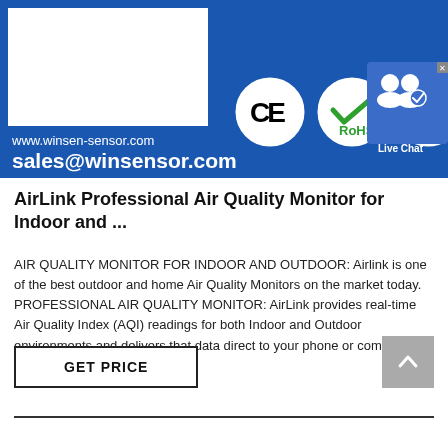[Figure (logo): Blue banner with Winsen company website and email, certification logos (CE, RoHS, ISO), and a Live Chat widget overlay]
AirLink Professional Air Quality Monitor for Indoor and ...
AIR QUALITY MONITOR FOR INDOOR AND OUTDOOR: Airlink is one of the best outdoor and home Air Quality Monitors on the market today. PROFESSIONAL AIR QUALITY MONITOR: AirLink provides real-time Air Quality Index (AQI) readings for both Indoor and Outdoor environments and delivers that data direct to your phone or computer for peace of mind.
GET PRICE